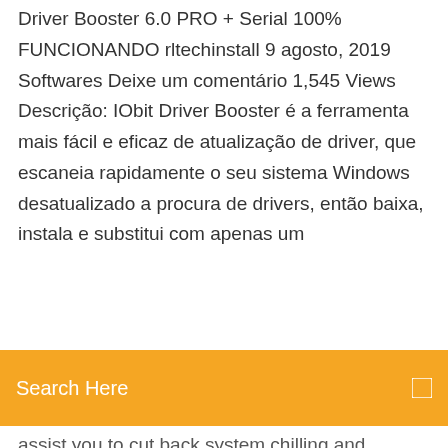Driver Booster 6.0 PRO + Serial 100% FUNCIONANDO rltechinstall 9 agosto, 2019 Softwares Deixe um comentário 1,545 Views Descrição: IObit Driver Booster é a ferramenta mais fácil e eficaz de atualização de driver, que escaneia rapidamente o seu sistema Windows desatualizado a procura de drivers, então baixa, instala e substitui com apenas um
[Figure (screenshot): Orange search bar with text 'Search Here' and a search icon on the right]
assist you to cut back system chilling and harming. IObit Driver Booster PRO 7.4 Key Full Version 2020. IObit Driver Booster PRO 7 Key excels among the smooth and easy to use interface. Download Crack Only Download Setup + Crack Driver Booster Pro Crack Serial Key. IObit Driver Booster Crack: Outdated drivers may overwhelm your PC and cause a structural crash.Drivers are free, arrange exciting progress with the most Driver Booster Crack, check and perceive the date drivers normally, and download them, and come up with the right revival for you with just 1 click, saving you driver booster 6.4 pro Driver